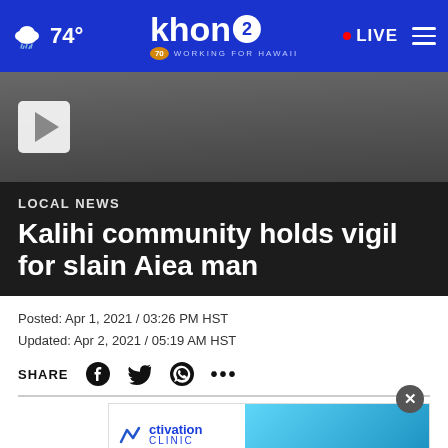74° khon2 WORKING FOR HAWAII LIVE
[Figure (photo): Video thumbnail showing group of people, with a play button on the left side]
LOCAL NEWS
Kalihi community holds vigil for slain Aiea man
Posted: Apr 1, 2021 / 03:26 PM HST
Updated: Apr 2, 2021 / 05:19 AM HST
SHARE
[Figure (screenshot): Advertisement overlay from Activation Clinic with close button]
HONOLULU (KHON2) — Dozens of Kalihi community